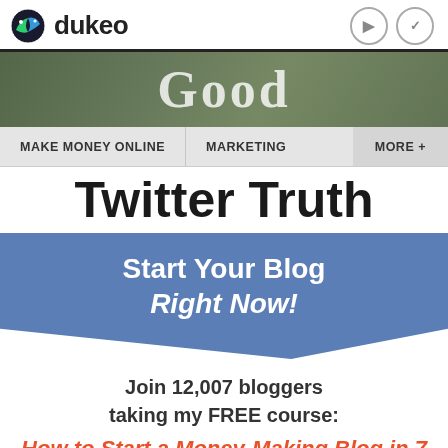dukeo
[Figure (screenshot): Hero banner with blurred forest background and text 'Good' partially visible]
MAKE MONEY ONLINE   MARKETING   MORE +
Twitter Truth
Start Your Blog Right Now!
Join 12,007 bloggers taking my FREE course:
How to Start a Money-Making Blog in 7